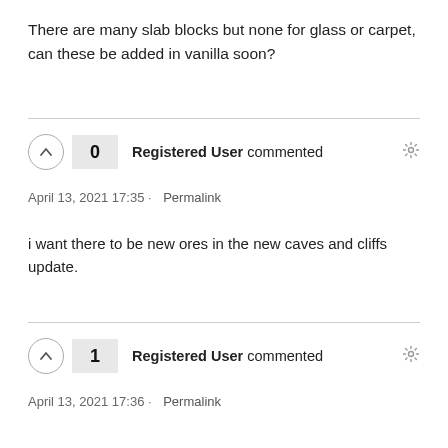There are many slab blocks but none for glass or carpet, can these be added in vanilla soon?
0  Registered User commented  April 13, 2021 17:35 · Permalink
i want there to be new ores in the new caves and cliffs update.
1  Registered User commented  April 13, 2021 17:36 · Permalink